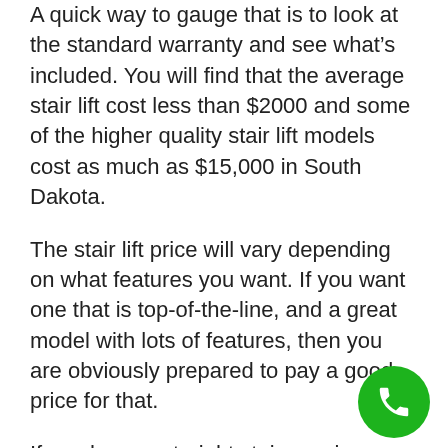A quick way to gauge that is to look at the standard warranty and see what's included. You will find that the average stair lift cost less than $2000 and some of the higher quality stair lift models cost as much as $15,000 in South Dakota.
The stair lift price will vary depending on what features you want. If you want one that is top-of-the-line, and a great model with lots of features, then you are obviously prepared to pay a good price for that.
If you have a straight staircase in your home then you won't need to worry much about the cost as those are by far the easiest to install. But if you need a curved stair lift then there is a steady increase in the cost depending on how